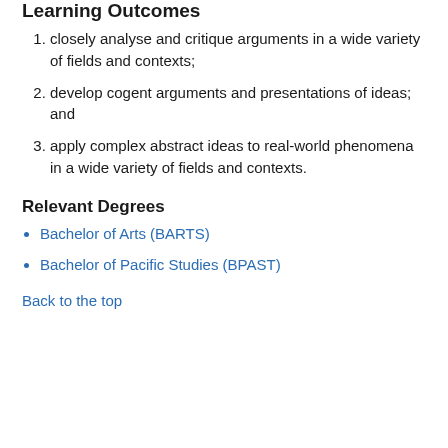Learning Outcomes
closely analyse and critique arguments in a wide variety of fields and contexts;
develop cogent arguments and presentations of ideas; and
apply complex abstract ideas to real-world phenomena in a wide variety of fields and contexts.
Relevant Degrees
Bachelor of Arts (BARTS)
Bachelor of Pacific Studies (BPAST)
Back to the top